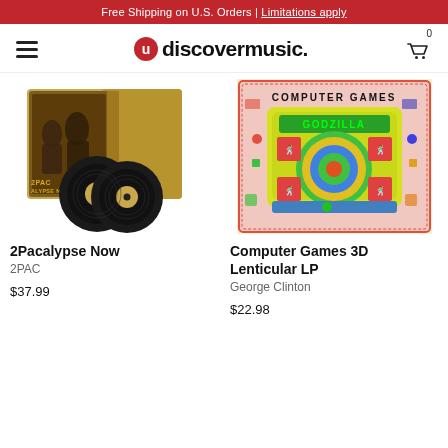Free Shipping on U.S. Orders | Limitations apply
[Figure (logo): uDiscoverMusic logo with hamburger menu and cart icon]
[Figure (photo): 2Pacalypse Now vinyl record album with open gatefold sleeve showing double LP records]
[Figure (photo): Computer Games 3D Lenticular LP album cover by George Clinton with colorful retro computer game artwork]
2Pacalypse Now
2PAC
$37.99
Computer Games 3D Lenticular LP
George Clinton
$22.98